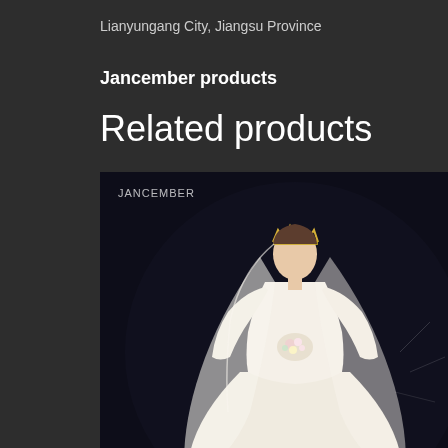Lianyungang City, Jiangsu Province
Jancember products
Related products
[Figure (photo): A bride in a luxurious white ball gown wedding dress with long sleeves and a very long train, wearing a crown/tiara and veil, holding a bouquet, photographed against a dark background. The image has a JANCEMBER watermark in the upper left corner.]
HLF56 2021 Newest Wedding Dress Luxury Lace Longsleeves Beading Pearls For Girls Bridal Gown свадебные украшения